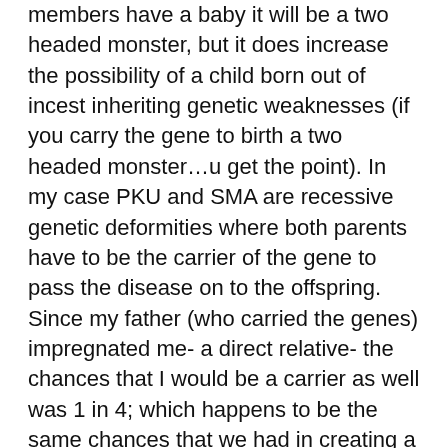members have a baby it will be a two headed monster, but it does increase the possibility of a child born out of incest inheriting genetic weaknesses (if you carry the gene to birth a two headed monster…u get the point). In my case PKU and SMA are recessive genetic deformities where both parents have to be the carrier of the gene to pass the disease on to the offspring. Since my father (who carried the genes) impregnated me- a direct relative- the chances that I would be a carrier as well was 1 in 4; which happens to be the same chances that we had in creating a child with the disease.
All of this could serve as constant reminders of the dark parts of my life, but the reality is, there are other people that were not raped and taken advantage of by a family member that have children with the same challenges mine have. My reasoning is that me and my children aren't that